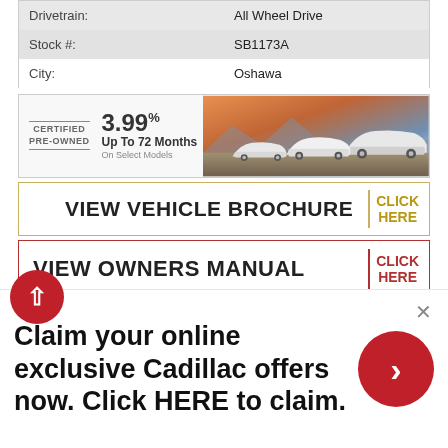| Drivetrain: | All Wheel Drive |
| Stock #: | SB1173A |
| City: | Oshawa |
[Figure (infographic): Cadillac Certified Pre-Owned banner ad: 3.99% Up To 72 Months On Select Models, with image of white Cadillac SUVs]
VIEW VEHICLE BROCHURE | CLICK HERE
VIEW OWNERS MANUAL | CLICK HERE
2019 CADILLAC XT4 SPORT
Claim your online exclusive Cadillac offers now. Click HERE to claim.